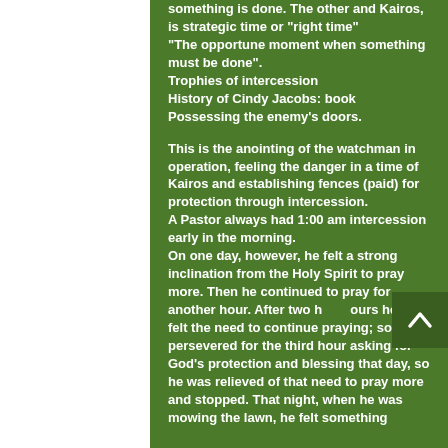something is done. The other and Kairos, is strategic time or "right time" "The opportune moment when something must be done".
Trophies of intercession
History of Cindy Jacobs: book Possessing the enemy's doors.
This is the anointing of the watchman in operation, feeling the danger in a time of Kairos and establishing fences (paid) for protection through intercession.
A Pastor always had 1:00 am intercession early in the morning.
On one day, however, he felt a strong inclination from the Holy Spirit to pray more. Then he continued to pray for another hour. After two hours he still felt the need to continue praying; so he persevered for the third hour asking for God's protection and blessing that day, so he was relieved of that need to pray more and stopped. That night, when he was mowing the lawn, he felt something